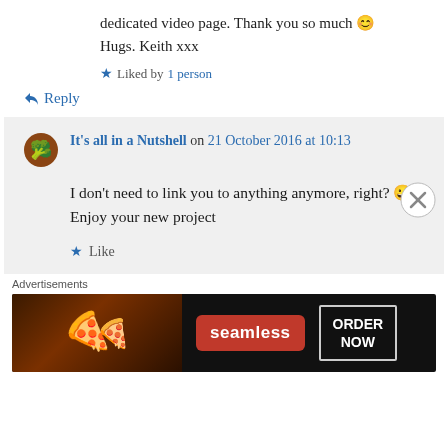dedicated video page. Thank you so much 😊 Hugs. Keith xxx
★ Liked by 1 person
↪ Reply
It's all in a Nutshell on 21 October 2016 at 10:13
I don't need to link you to anything anymore, right? 😀 Enjoy your new project
★ Like
Advertisements
[Figure (screenshot): Seamless food delivery advertisement banner showing pizza and ORDER NOW button]